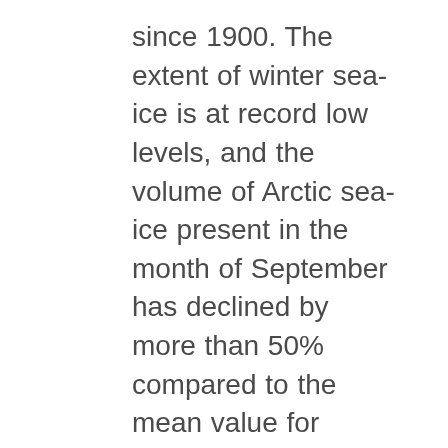since 1900. The extent of winter sea-ice is at record low levels, and the volume of Arctic sea-ice present in the month of September has declined by more than 50% compared to the mean value for 1979-2018 . To support Arctic decision makers in this changing climate, the new Arctic Regional Climate Centre (ArcRCC) Network now provides climate consensus statements in May prior to summer thawing and sea-ice break-up, and in October before the winter freezing and the return of sea-ice. The role of the ArcRCC is to collaborate amongst Arctic meteorological and ice services to synthesize observations, historical trends, forecast models and fill gaps with regional expertise to produce these climate consensus statements. These